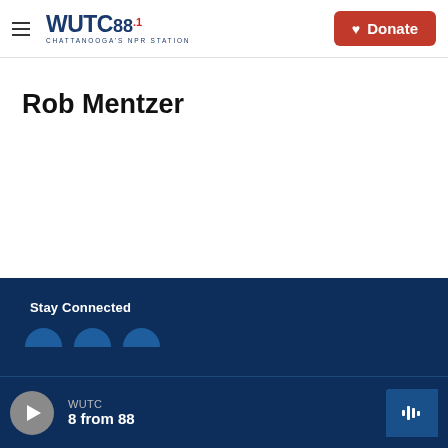WUTC 88.1 Chattanooga's NPR Station — Donate
Rob Mentzer
Stay Connected — WUTC 8 from 88